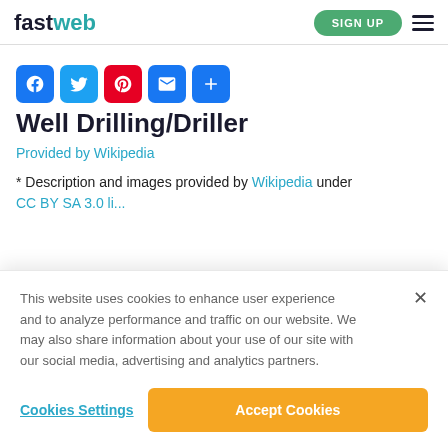fastweb — SIGN UP
[Figure (other): Social share icons: Facebook, Twitter, Pinterest, Email, More (+)]
Well Drilling/Driller
Provided by Wikipedia
* Description and images provided by Wikipedia under CC BY SA 3.0 li...
This website uses cookies to enhance user experience and to analyze performance and traffic on our website. We may also share information about your use of our site with our social media, advertising and analytics partners.
Cookies Settings    Accept Cookies